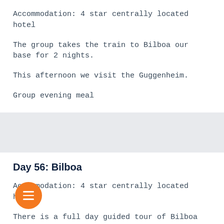Accommodation: 4 star centrally located hotel
The group takes the train to Bilboa our base for 2 nights.
This afternoon we visit the Guggenheim.
Group evening meal
Day 56: Bilboa
Accommodation: 4 star centrally located hotel
There is a full day guided tour of Bilboa today.